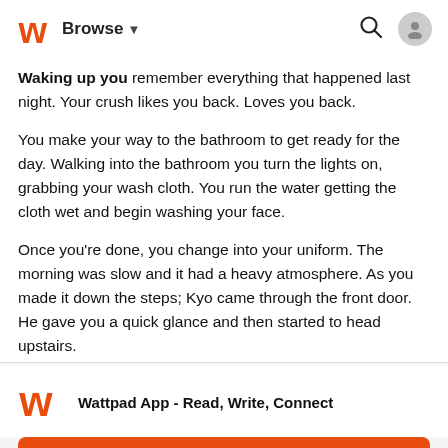Browse
Waking up you remember everything that happened last night. Your crush likes you back. Loves you back.
You make your way to the bathroom to get ready for the day. Walking into the bathroom you turn the lights on, grabbing your wash cloth. You run the water getting the cloth wet and begin washing your face.
Once you're done, you change into your uniform. The morning was slow and it had a heavy atmosphere. As you made it down the steps; Kyo came through the front door. He gave you a quick glance and then started to head upstairs.
[Figure (logo): Wattpad W logo in orange]
Wattpad App - Read, Write, Connect
Start Reading
Log in with Browser